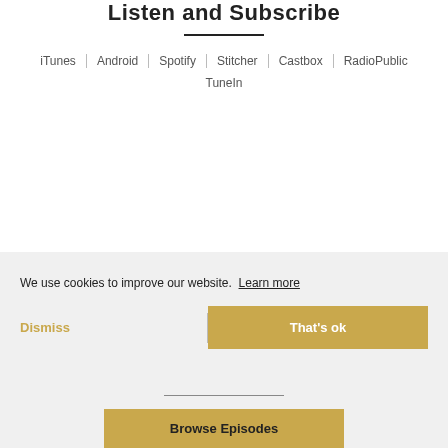Listen and Subscribe
iTunes
Android
Spotify
Stitcher
Castbox
RadioPublic
TuneIn
The OutsideVoices Podcast
By Mark Bidwell
We use cookies to improve our website. Learn more
Dismiss
That's ok
Browse Episodes